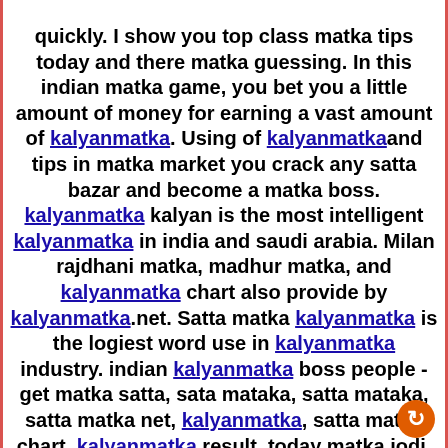quickly. I show you top class matka tips today and there matka guessing. In this indian matka game, you bet you a little amount of money for earning a vast amount of kalyanmatka. Using of kalyanmatka and tips in matka market you crack any satta bazar and become a matka boss. kalyanmatka kalyan is the most intelligent kalyanmatka in india and saudi arabia. Milan rajdhani matka, madhur matka, and kalyanmatka chart also provide by kalyanmatka.net. Satta matka kalyanmatka is the logiest word use in kalyanmatka industry. indian kalyanmatka boss people - get matka satta, sata mataka, satta mataka, satta matka net, kalyanmatka, satta matka chart, kalyanmatka result, today matka jodi, kalyan main matka tips, kalyan matka guru, aaj ka satta kalyan jodi, today satta number, satta matta matka, kalyanmatka, satta result, rajshree matka result, satta kalyan, satta matka com, satta matka mobi, matka boss sattamataka143, sattabatta, indianmatka result matka, kalyanmatka.com, kalyan chart